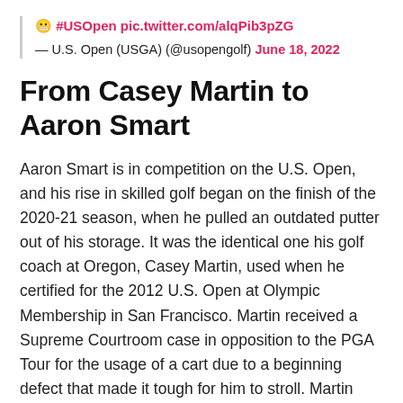😬 #USOpen pic.twitter.com/alqPib3pZG — U.S. Open (USGA) (@usopengolf) June 18, 2022
From Casey Martin to Aaron Smart
Aaron Smart is in competition on the U.S. Open, and his rise in skilled golf began on the finish of the 2020-21 season, when he pulled an outdated putter out of his storage. It was the identical one his golf coach at Oregon, Casey Martin, used when he certified for the 2012 U.S. Open at Olympic Membership in San Francisco. Martin received a Supreme Courtroom case in opposition to the PGA Tour for the usage of a cart due to a beginning defect that made it tough for him to stroll. Martin had a part of his proper leg amputated in October. Martin gave